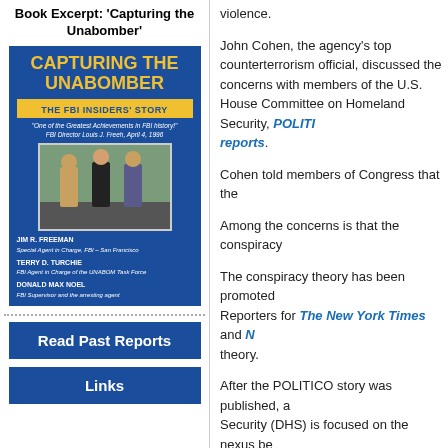Book Excerpt: 'Capturing the Unabomber'
[Figure (illustration): Book cover of 'Capturing The Unabomber: The FBI Insiders' Story' with blue and yellow design, showing photo of three people and author names Jim R. Freeman, Terry D. Turchie, Donald Max Noel.]
Read Past Reports
Links
violence.
John Cohen, the agency's top counterterrorism official, discussed the concerns with members of the U.S. House Committee on Homeland Security, POLITICO reports.
Cohen told members of Congress that the
Among the concerns is that the conspiracy
The conspiracy theory has been promoted by Reporters for The New York Times and N... theory.
After the POLITICO story was published, a Security (DHS) is focused on the nexus be false narratives. DHS is enhancing its ability conspiracy theories, and extremist narrativ...
Posted: June 28th, 2021 under News S... Tags: Committee on Homeland Securit... trump, Homeland Security